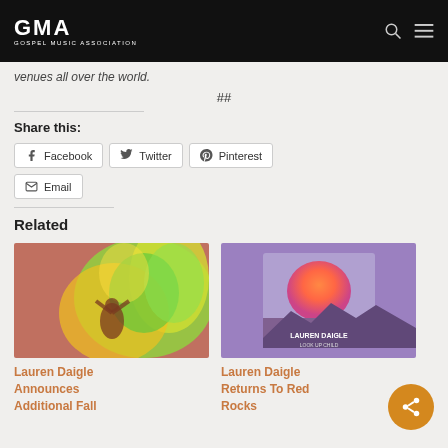GMA — Gospel Music Association
venues all over the world.
##
Share this:
Facebook
Twitter
Pinterest
Email
Related
[Figure (photo): Concert photo with colorful swirl lights and performer with arms raised]
Lauren Daigle Announces Additional Fall
[Figure (photo): Lauren Daigle album art on purple background with gradient circle and landscape]
Lauren Daigle Returns To Red Rocks